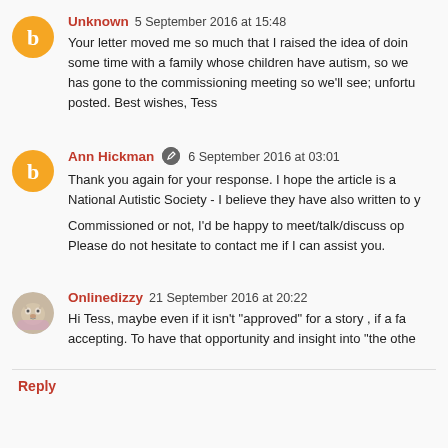Unknown 5 September 2016 at 15:48
Your letter moved me so much that I raised the idea of doing some time with a family whose children have autism, so we has gone to the commissioning meeting so we'll see; unfortunately posted. Best wishes, Tess
Ann Hickman 6 September 2016 at 03:01
Thank you again for your response. I hope the article is a National Autistic Society - I believe they have also written to y

Commissioned or not, I'd be happy to meet/talk/discuss op Please do not hesitate to contact me if I can assist you.
Onlinedizzy 21 September 2016 at 20:22
Hi Tess, maybe even if it isn't "approved" for a story , if a fa accepting. To have that opportunity and insight into "the othe
Reply